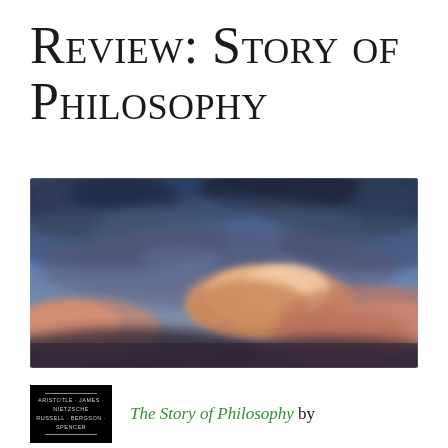Review: Story of Philosophy
[Figure (photo): Photograph of a dramatic sky with blue, purple, and orange-pink clouds at dusk or dawn. Dark storm clouds contrast with warm peach-colored cumulus clouds in the lower portion.]
[Figure (photo): Book cover of 'The Story of Philosophy' — black cover with author names including Aristotle, James, Nietzsche, Russell, Bergson, Spencer in small white text.]
The Story of Philosophy by